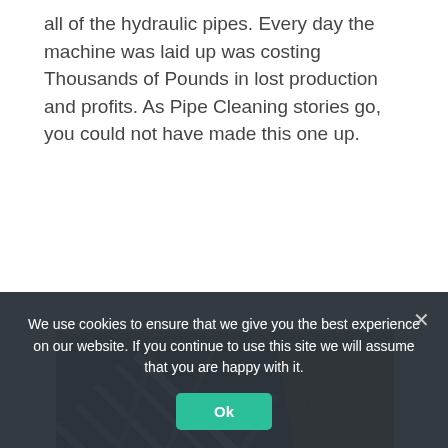all of the hydraulic pipes. Every day the machine was laid up was costing Thousands of Pounds in lost production and profits. As Pipe Cleaning stories go, you could not have made this one up.
[Figure (photo): Photo of hydraulic pipes and fittings laid out on a dark surface, with a wooden board visible in the upper right corner.]
We use cookies to ensure that we give you the best experience on our website. If you continue to use this site we will assume that you are happy with it.